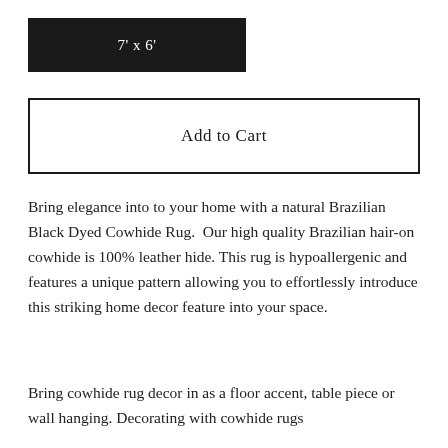7' x 6'
Add to Cart
Bring elegance into to your home with a natural Brazilian Black Dyed Cowhide Rug. Our high quality Brazilian hair-on cowhide is 100% leather hide. This rug is hypoallergenic and features a unique pattern allowing you to effortlessly introduce this striking home decor feature into your space.
Bring cowhide rug decor in as a floor accent, table piece or wall hanging. Decorating with cowhide rugs